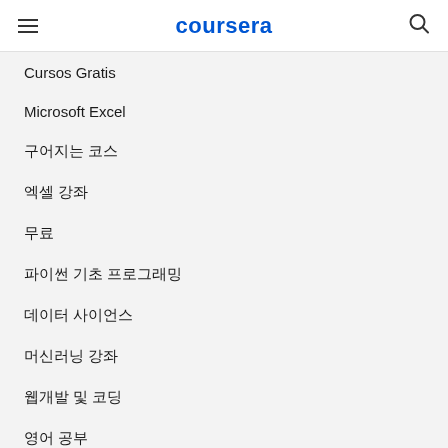coursera
Cursos Gratis
Microsoft Excel
인공지능 강좌
엑셀 강좌
무료
파이썬 기초 프로그래밍
데이터 사이언스
머신러닝 강좌
웹개발 및 코딩
영어 공부
C 프로그래밍
사이버보안 강좌
블록체인
구글 클라우드 강좌